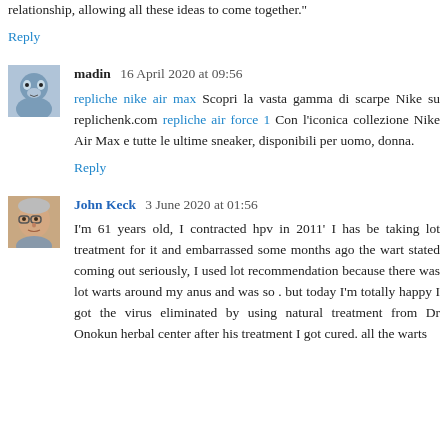relationship, allowing all these ideas to come together."
Reply
madin  16 April 2020 at 09:56
repliche nike air max Scopri la vasta gamma di scarpe Nike su replichenk.com repliche air force 1 Con l'iconica collezione Nike Air Max e tutte le ultime sneaker, disponibili per uomo, donna.
Reply
John Keck  3 June 2020 at 01:56
I'm 61 years old, I contracted hpv in 2011' I has be taking lot treatment for it and embarrassed some months ago the wart stated coming out seriously, I used lot recommendation because there was lot warts around my anus and was so . but today I'm totally happy I got the virus eliminated by using natural treatment from Dr Onokun herbal center after his treatment I got cured. all the warts